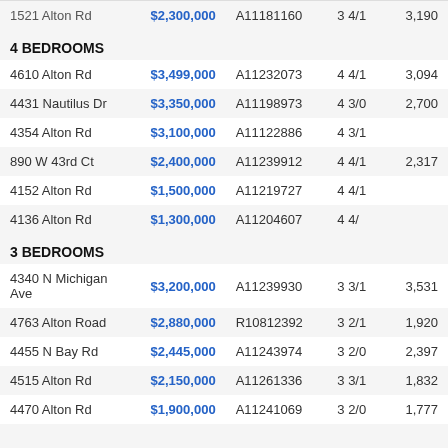| Address | Price | MLS ID | Beds/Baths | Sq Ft |
| --- | --- | --- | --- | --- |
| 4610 Alton Rd | $3,499,000 | A11232073 | 4 4/1 | 3,094 |
| 4431 Nautilus Dr | $3,350,000 | A11198973 | 4 3/0 | 2,700 |
| 4354 Alton Rd | $3,100,000 | A11122886 | 4 3/1 |  |
| 890 W 43rd Ct | $2,400,000 | A11239912 | 4 4/1 | 2,317 |
| 4152 Alton Rd | $1,500,000 | A11219727 | 4 4/1 |  |
| 4136 Alton Rd | $1,300,000 | A11204607 | 4 4/ |  |
| 4340 N Michigan Ave | $3,200,000 | A11239930 | 3 3/1 | 3,531 |
| 4763 Alton Road | $2,880,000 | R10812392 | 3 2/1 | 1,920 |
| 4455 N Bay Rd | $2,445,000 | A11243974 | 3 2/0 | 2,397 |
| 4515 Alton Rd | $2,150,000 | A11261336 | 3 3/1 | 1,832 |
| 4470 Alton Rd | $1,900,000 | A11241069 | 3 2/0 | 1,777 |